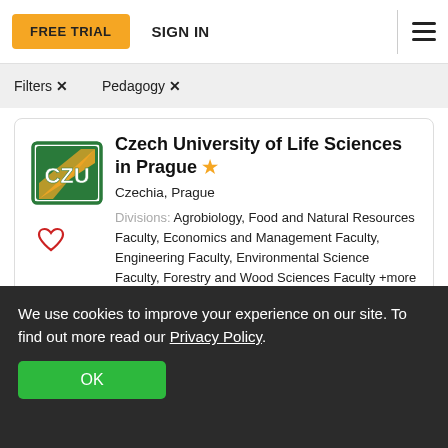FREE TRIAL  SIGN IN
Filters ✕   Pedagogy ✕
[Figure (logo): Czech University of Life Sciences in Prague logo — stylized green and gold shield with letters CZU]
Czech University of Life Sciences in Prague ★
Czechia, Prague
Divisions: Agrobiology, Food and Natural Resources Faculty, Economics and Management Faculty, Engineering Faculty, Environmental Science Faculty, Forestry and Wood Sciences Faculty +more
We use cookies to improve your experience on our site. To find out more read our Privacy Policy.